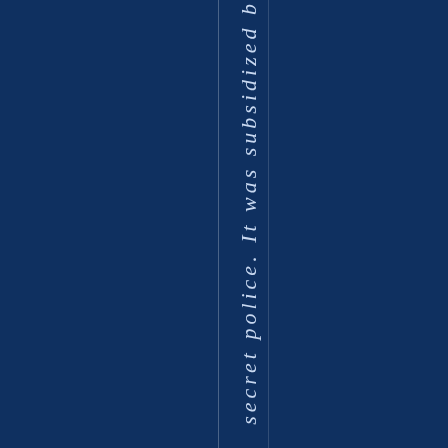secret police. It was subsidized b